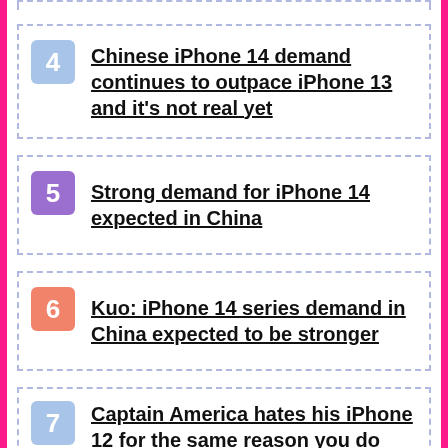4 Chinese iPhone 14 demand continues to outpace iPhone 13 and it's not real yet
5 Strong demand for iPhone 14 expected in China
6 Kuo: iPhone 14 series demand in China expected to be stronger
7 Captain America hates his iPhone 12 for the same reason you do